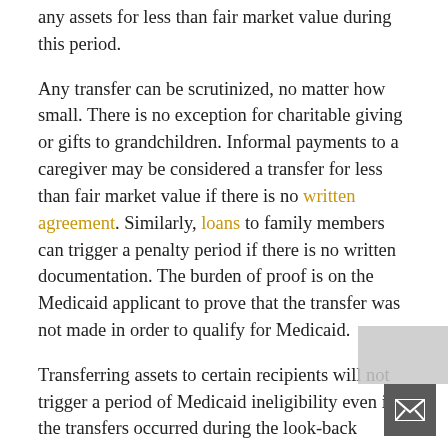any assets for less than fair market value during this period.
Any transfer can be scrutinized, no matter how small. There is no exception for charitable giving or gifts to grandchildren. Informal payments to a caregiver may be considered a transfer for less than fair market value if there is no written agreement. Similarly, loans to family members can trigger a penalty period if there is no written documentation. The burden of proof is on the Medicaid applicant to prove that the transfer was not made in order to qualify for Medicaid.
Transferring assets to certain recipients will not trigger a period of Medicaid ineligibility even if the transfers occurred during the look-back period. These exempt recipients include the following: